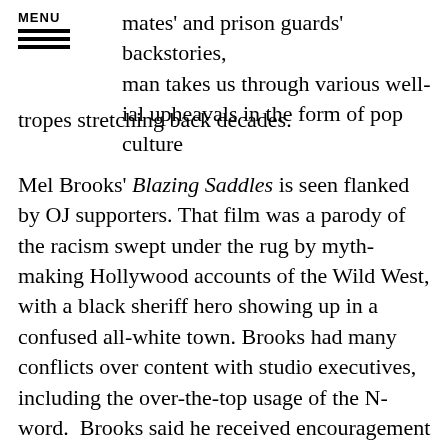MENU
mates' and prison guards' backstories, man takes us through various well-ial upheavals in the form of pop culture tropes stretching back decades.
Mel Brooks' Blazing Saddles is seen flanked by OJ supporters. That film was a parody of the racism swept under the rug by myth-making Hollywood accounts of the Wild West, with a black sheriff hero showing up in a confused all-white town. Brooks had many conflicts over content with studio executives, including the over-the-top usage of the N-word.  Brooks said he received encouragement to do so from Richard Pryor, his co-writer, and Cleavon Little who